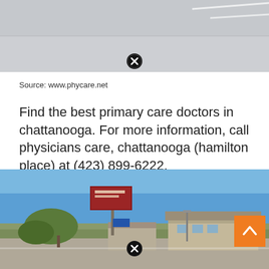[Figure (photo): Top portion of a parking lot or road scene, partially cropped, with a close/dismiss button overlay]
Source: www.phycare.net
Find the best primary care doctors in chattanooga. For more information, call physicians care, chattanooga (hamilton place) at (423) 899-6222.
[Figure (photo): Street-level exterior photo of a physicians care medical facility in Chattanooga with signage and blue sky, with a close/dismiss button and an up-arrow navigation button overlay]